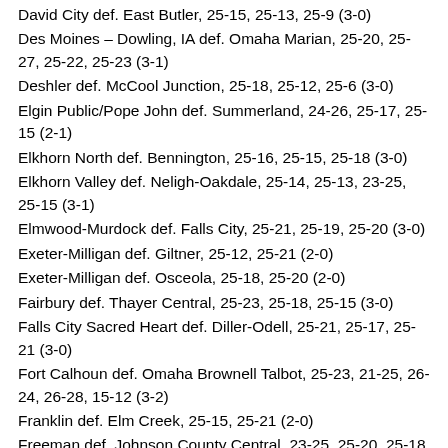David City def. East Butler, 25-15, 25-13, 25-9 (3-0)
Des Moines – Dowling, IA def. Omaha Marian, 25-20, 25-27, 25-22, 25-23 (3-1)
Deshler def. McCool Junction, 25-18, 25-12, 25-6 (3-0)
Elgin Public/Pope John def. Summerland, 24-26, 25-17, 25-15 (2-1)
Elkhorn North def. Bennington, 25-16, 25-15, 25-18 (3-0)
Elkhorn Valley def. Neligh-Oakdale, 25-14, 25-13, 23-25, 25-15 (3-1)
Elmwood-Murdock def. Falls City, 25-21, 25-19, 25-20 (3-0)
Exeter-Milligan def. Giltner, 25-12, 25-21 (2-0)
Exeter-Milligan def. Osceola, 25-18, 25-20 (2-0)
Fairbury def. Thayer Central, 25-23, 25-18, 25-15 (3-0)
Falls City Sacred Heart def. Diller-Odell, 25-21, 25-17, 25-21 (3-0)
Fort Calhoun def. Omaha Brownell Talbot, 25-23, 21-25, 26-24, 26-28, 15-12 (3-2)
Franklin def. Elm Creek, 25-15, 25-21 (2-0)
Freeman def. Johnson County Central, 23-25, 25-20, 25-18 (2-1)